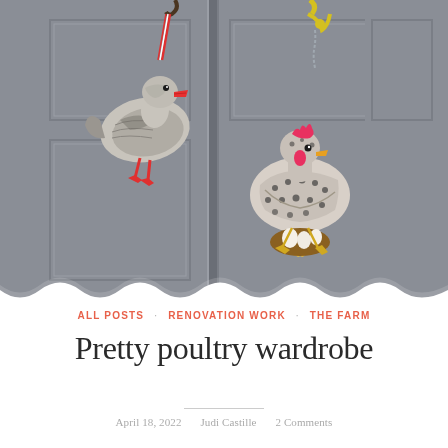[Figure (photo): A grey painted wardrobe/armoire with two decorative bird ornaments hanging from hooks. On the left is a duck ornament with a red beak and red feet, hanging from a red and white twisted cord. On the right is a hen/chicken ornament sitting on a sunflower, hanging from a yellow ornate hook with a chain. The wardrobe doors have rectangular panel detailing.]
ALL POSTS · RENOVATION WORK · THE FARM
Pretty poultry wardrobe
April 18, 2022    Judi Castille    2 Comments